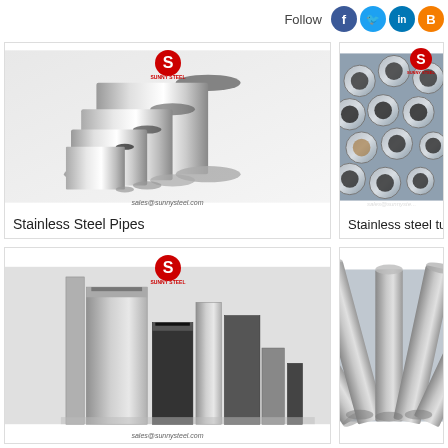Follow
[Figure (photo): Stainless steel pipes - multiple cylindrical metal pipes arranged together, shiny silver finish, Sunny Steel logo visible]
Stainless Steel Pipes
[Figure (photo): Stainless steel tubes - cluster of round tubes viewed from end showing hollow cross-sections, Sunny Steel logo visible]
Stainless steel tube
[Figure (photo): Stainless steel square/rectangular hollow section tubes arranged together, Sunny Steel logo visible]
[Figure (photo): Large diameter stainless steel pipes arranged in a fan pattern, grey finish]